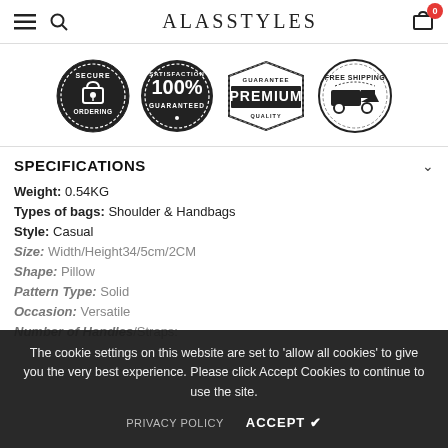ALASSTYLES
[Figure (logo): Four trust badges: Secure Ordering (padlock badge), 100% Satisfaction Guaranteed (circular badge), Premium Quality (banner badge), Free Shipping (truck badge)]
SPECIFICATIONS
Weight: 0.54KG
Types of bags: Shoulder & Handbags
Style: Casual
Size: Width/Height34/5cm/2CM
Shape: Pillow
Pattern Type: Solid
Occasion: Versatile
Number of Handles/Straps:
The cookie settings on this website are set to 'allow all cookies' to give you the very best experience. Please click Accept Cookies to continue to use the site.